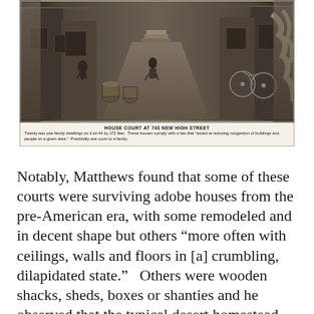[Figure (photo): Black and white historical photograph of a house court alleyway at 743 New High Street, showing small dwellings, people, barrels, and a bicycle in a narrow courtyard.]
HOUSE COURT AT 743 NEW HIGH STREET
Twenty-two one-family dwellings on a lot 44 by 172 feet. These houses comply with a law that "aimed at reducing congestion of buildings and people on a given area." Practically one room to a family.
Notably, Matthews found that some of these courts were surviving adobe houses from the pre-American era, with some remodeled and in decent shape but others “more often with ceilings, walls and floors in [a] crumbling, dilapidated state.”   Others were wooden shacks, sheds, boxes or shanties and he observed that the typical desert homestead was far better than these “tumbling, propped-up, grotesquely patched habitations in the courts of Los Angeles.”  One was a former warren of prostitution occupied by families.